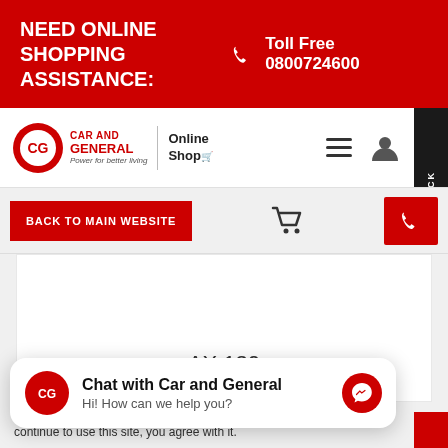NEED ONLINE SHOPPING ASSISTANCE:  Toll Free 0800724600
[Figure (logo): Car and General Online Shop logo with hamburger menu and user icon]
BACK TO MAIN WEBSITE
[Figure (screenshot): Product area showing AX 130 label]
AX 130
Chat with Car and General
Hi! How can we help you?
continue to use this site, you agree with it.